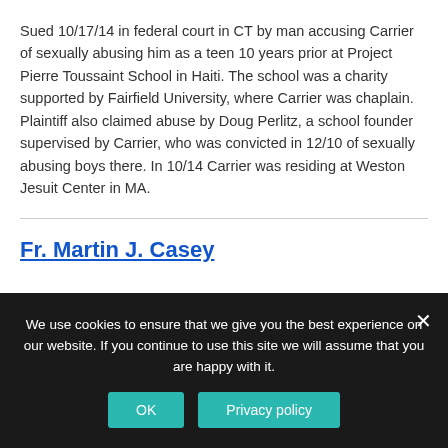Sued 10/17/14 in federal court in CT by man accusing Carrier of sexually abusing him as a teen 10 years prior at Project Pierre Toussaint School in Haiti. The school was a charity supported by Fairfield University, where Carrier was chaplain. Plaintiff also claimed abuse by Doug Perlitz, a school founder supervised by Carrier, who was convicted in 12/10 of sexually abusing boys there. In 10/14 Carrier was residing at Weston Jesuit Center in MA.
Fr. Martin J. Casey
We use cookies to ensure that we give you the best experience on our website. If you continue to use this site we will assume that you are happy with it.